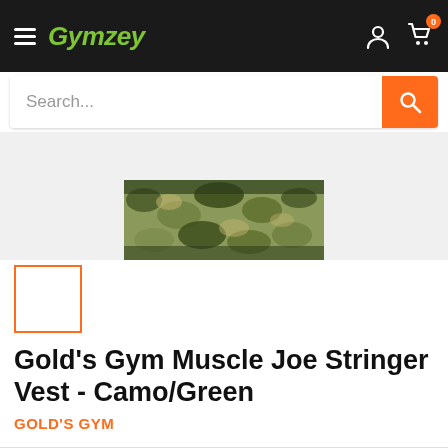Gymzey — navigation bar with hamburger menu, logo, account icon, cart icon with badge 0
[Figure (screenshot): Search bar with placeholder text 'Search...' and orange search button]
[Figure (photo): Partial product image showing camo/green fabric item]
[Figure (photo): Selected thumbnail with orange border outline]
Gold's Gym Muscle Joe Stringer Vest - Camo/Green
GOLD'S GYM